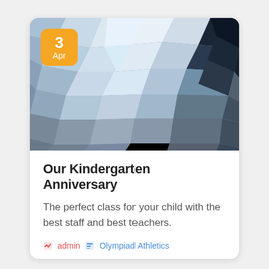[Figure (illustration): Low-poly geometric mosaic background image in shades of blue, grey, and dark, with an orange date badge showing '3 Apr' in the top-left corner of the card image.]
Our Kindergarten Anniversary
The perfect class for your child with the best staff and best teachers.
admin   Olympiad Athletics